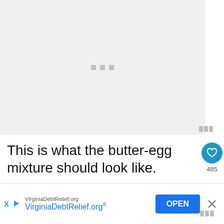[Figure (photo): Loading placeholder area — light gray rectangle with three gray square dots in the center, representing an image loading state.]
This is what the butter-egg mixture should look like.
That's why it is so important that the
[Figure (infographic): Advertisement banner for VirginiaDebtRelief.org with a blue OPEN button and a close X button. Small X and play triangle icons on left. Text: 'VirginiaDebtRelief.org' (small) and 'VirginiaDebtRelief.org®' (large blue).]